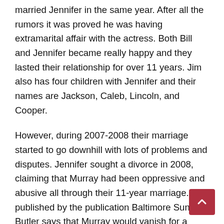married Jennifer in the same year. After all the rumors it was proved he was having extramarital affair with the actress. Both Bill and Jennifer became really happy and they lasted their relationship for over 11 years. Jim also has four children with Jennifer and their names are Jackson, Caleb, Lincoln, and Cooper.
However, during 2007-2008 their marriage started to go downhill with lots of problems and disputes. Jennifer sought a divorce in 2008, claiming that Murray had been oppressive and abusive all through their 11-year marriage. As published by the publication Baltimore Sun, Butler says that Murray would vanish for a